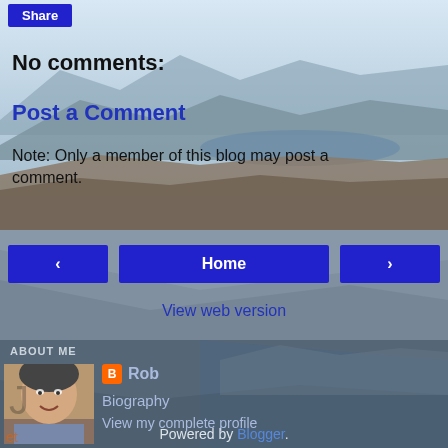Share
No comments:
Post a Comment
Note: Only a member of this blog may post a comment.
‹
Home
›
View web version
ABOUT ME
[Figure (photo): Profile photo of Rob - a man smiling, with light background]
Rob
Biography
View my complete profile
Powered by Blogger.